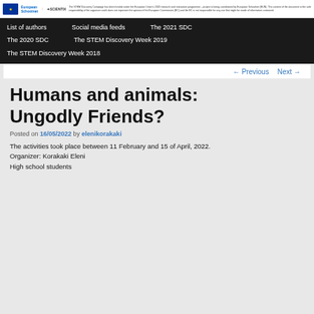European Schoolnet | SCIENTIX — The STEM Discovery Campaign has been funded under the European Union's 2020 research and innovation programme...
List of authors | Social media feeds | The 2021 SDC | The 2020 SDC | The STEM Discovery Week 2019 | The STEM Discovery Week 2018
← Previous   Next →
Humans and animals: Ungodly Friends?
Posted on 16/05/2022 by elenikorakaki
The activities took place between 11 February and 15 of April, 2022.
Organizer: Korakaki Eleni
High school students